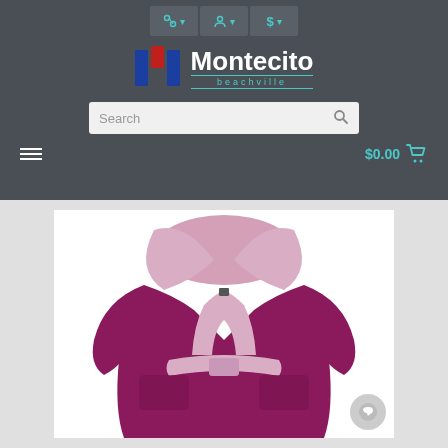[Figure (screenshot): E-commerce website header for Montecito beachville with top icon bar, logo, search bar, hamburger menu, and cart showing $0.00]
[Figure (photo): Product photo of a magenta/purple hooded bathrobe with light pink interior lining and belt, displayed on white background]